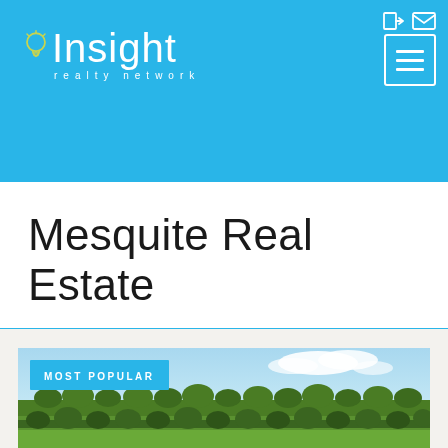Insight realty network
Mesquite Real Estate
[Figure (photo): Landscape photo showing green fields with rows of trees under a blue sky with white clouds, labeled 'MOST POPULAR']